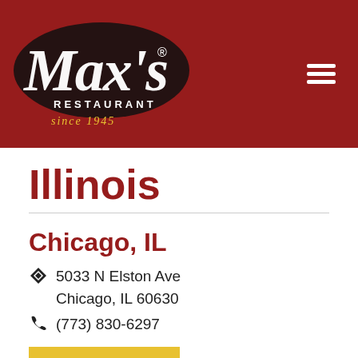Max's Restaurant since 1945
Illinois
Chicago, IL
5033 N Elston Ave Chicago, IL 60630
(773) 830-6297
ORDER NOW
Texas